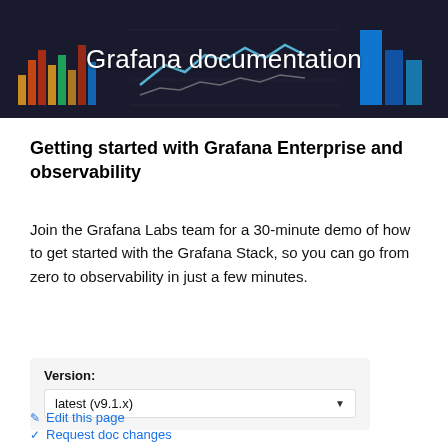[Figure (screenshot): Grafana dashboard banner with dark background showing colorful bar charts and line charts, with white text 'Grafana documentation' centered on top]
Getting started with Grafana Enterprise and observability
Join the Grafana Labs team for a 30-minute demo of how to get started with the Grafana Stack, so you can go from zero to observability in just a few minutes.
Version: latest (v9.1.x)
Edit this page
Request doc changes